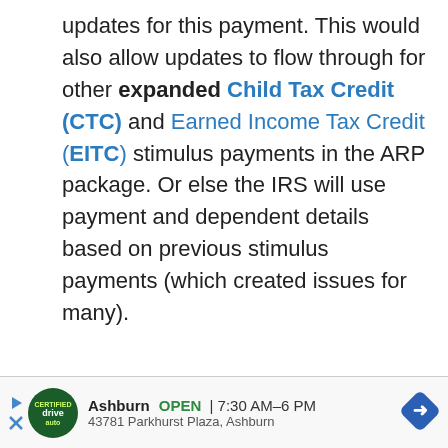updates for this payment. This would also allow updates to flow through for other expanded Child Tax Credit (CTC) and Earned Income Tax Credit (EITC) stimulus payments in the ARP package. Or else the IRS will use payment and dependent details based on previous stimulus payments (which created issues for many).
[Figure (other): Advertisement bar: drive auto logo, Ashburn OPEN 7:30AM-6PM, 43781 Parkhurst Plaza, Ashburn, navigation arrow icon]